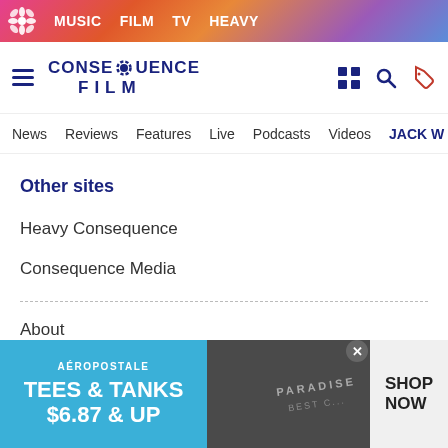MUSIC  FILM  TV  HEAVY
[Figure (logo): Consequence Film logo with gear icon and hamburger menu, plus header icons]
News  Reviews  Features  Live  Podcasts  Videos  JACK W...
Other sites
Heavy Consequence
Consequence Media
About
Privacy policy
Advertising
[Figure (screenshot): Aeropostale advertisement banner: TEES & TANKS $6.87 & UP with SHOP NOW button]